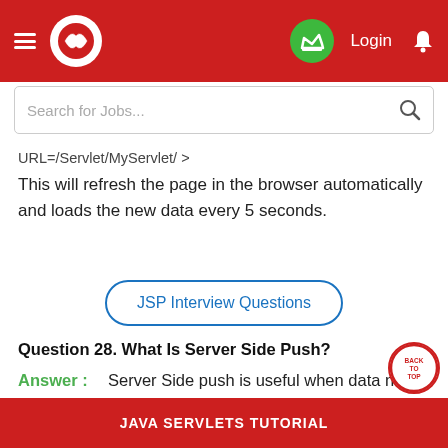JAVA SERVLETS TUTORIAL - Navigation bar with logo, login, search
URL=/Servlet/MyServlet/ >
This will refresh the page in the browser automatically and loads the new data every 5 seconds.
JSP Interview Questions
Question 28. What Is Server Side Push?
Answer : Server Side push is useful when data needs to change regularly on the clients application or browser without intervention from client. The
JAVA SERVLETS TUTORIAL